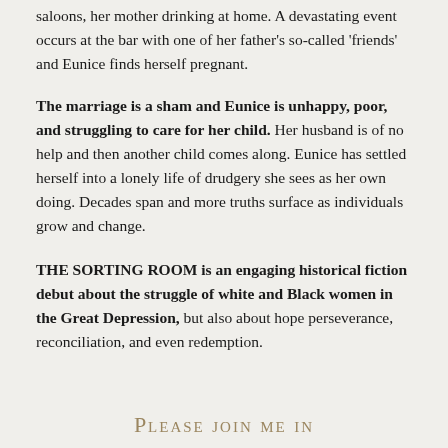saloons, her mother drinking at home. A devastating event occurs at the bar with one of her father’s so-called ‘friends’ and Eunice finds herself pregnant.
The marriage is a sham and Eunice is unhappy, poor, and struggling to care for her child. Her husband is of no help and then another child comes along. Eunice has settled herself into a lonely life of drudgery she sees as her own doing. Decades span and more truths surface as individuals grow and change.
THE SORTING ROOM is an engaging historical fiction debut about the struggle of white and Black women in the Great Depression, but also about hope perseverance, reconciliation, and even redemption.
Please join me in